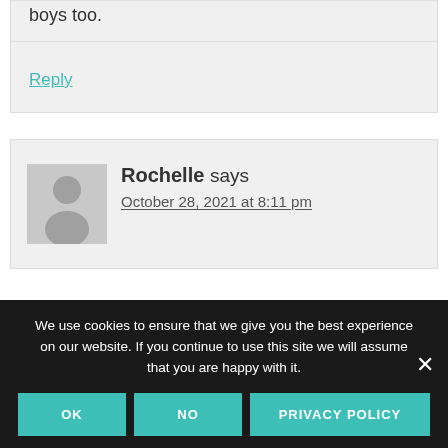boys too.
Reply
Rochelle says
October 28, 2021 at 8:11 pm
We use cookies to ensure that we give you the best experience on our website. If you continue to use this site we will assume that you are happy with it.
OK
NO
PRIVACY POLICY